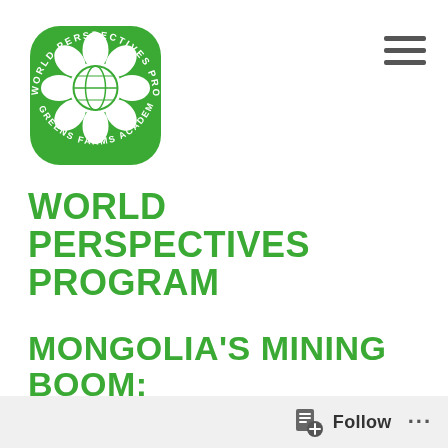[Figure (logo): World Perspectives Program Greens Farms Academy circular green logo with flower/globe design]
WORLD PERSPECTIVES PROGRAM
MONGOLIA'S MINING BOOM: POLICIES, SOCIAL INTERACTIONS, AND
Follow ...